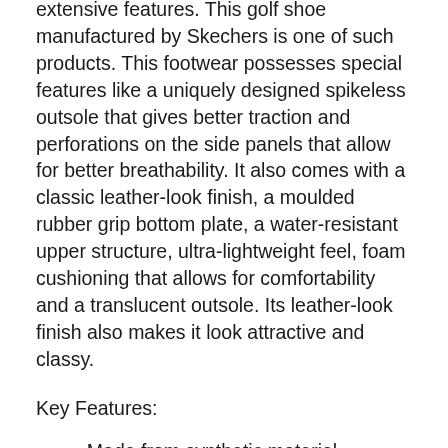extensive features. This golf shoe manufactured by Skechers is one of such products. This footwear possesses special features like a uniquely designed spikeless outsole that gives better traction and perforations on the side panels that allow for better breathability. It also comes with a classic leather-look finish, a moulded rubber grip bottom plate, a water-resistant upper structure, ultra-lightweight feel, foam cushioning that allows for comfortability and a translucent outsole. Its leather-look finish also makes it look attractive and classy.
Key Features:
Made from synthetic material